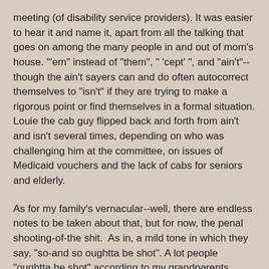meeting (of disability service providers). It was easier to hear it and name it, apart from all the talking that goes on among the many people in and out of mom's house. "'em" instead of "them", " 'cept' ", and "ain't"--though the ain't sayers can and do often autocorrect themselves to "isn't" if they are trying to make a rigorous point or find themselves in a formal situation. Louie the cab guy flipped back and forth from ain't and isn't several times, depending on who was challenging him at the committee, on issues of Medicaid vouchers and the lack of cabs for seniors and elderly.
As for my family's vernacular--well, there are endless notes to be taken about that, but for now, the penal shooting-of-the shit.  As in, a mild tone in which they say, "so-and so oughtta be shot". A lot people "oughtta be shot" according to my grandparents, including Lindsay Lohan, the guy who did the stupid job designing the kitchen, the maintenance guy at the beach condo who uses the tiniest paintbrush to paint the biggest surface.